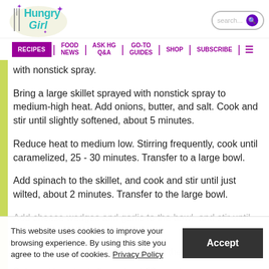Hungry Girl — RECIPES | FOOD NEWS | ASK HG Q&A | GO-TO GUIDES | SHOP | SUBSCRIBE
with nonstick spray.
Bring a large skillet sprayed with nonstick spray to medium-high heat. Add onions, butter, and salt. Cook and stir until slightly softened, about 5 minutes.
Reduce heat to medium low. Stirring frequently, cook until caramelized, 25 - 30 minutes. Transfer to a large bowl.
Add spinach to the skillet, and cook and stir until just wilted, about 2 minutes. Transfer to the large bowl.
Add cheese wedges and garlic to the bowl, and stir until melted and well mixed.
Once cool, add eggs, then pour into the baking pan.
Bake until center is firm, about 50 minutes.
This website uses cookies to improve your browsing experience. By using this site you agree to the use of cookies. Privacy Policy